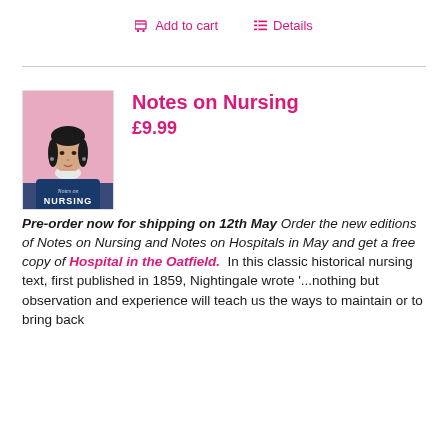Add to cart   Details
[Figure (illustration): Book cover illustration of Notes on Nursing: stylized portrait of a woman (Florence Nightingale) with dark hair, wearing a dark dress with white collar, on a pink background. Text 'Notes on NURSING' at bottom.]
Notes on Nursing
£9.99
Pre-order now for shipping on 12th May Order the new editions of Notes on Nursing and Notes on Hospitals in May and get a free copy of Hospital in the Oatfield.  In this classic historical nursing text, first published in 1859, Nightingale wrote '...nothing but observation and experience will teach us the ways to maintain or to bring back